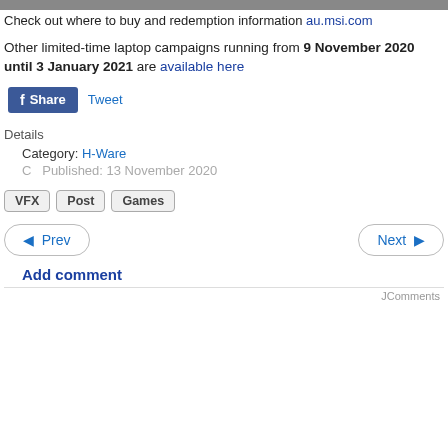Check out where to buy and redemption information au.msi.com
Other limited-time laptop campaigns running from 9 November 2020 until 3 January 2021 are available here
f Share   Tweet
Details
Category: H-Ware
C   Published: 13 November 2020
VFX
Post
Games
Prev   Next
Add comment
JComments